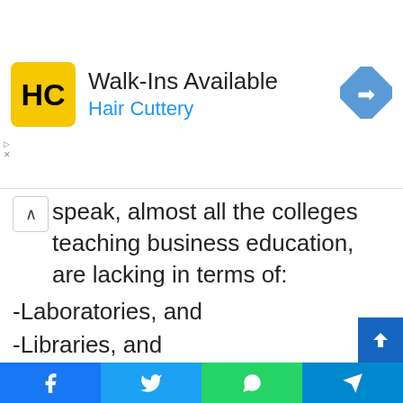[Figure (other): Advertisement banner for Hair Cuttery with logo, text 'Walk-Ins Available' and 'Hair Cuttery', and a direction sign icon]
speak, almost all the colleges teaching business education, are lacking in terms of:
-Laboratories, and
-Libraries, and
-Studios and
-Entrepreneurship research centres, among others.
Conclusion
However, in spite of the laudable roles played by business education in Nigeria, there are some indications